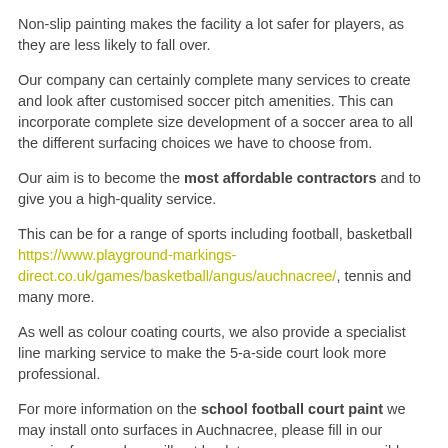Non-slip painting makes the facility a lot safer for players, as they are less likely to fall over.
Our company can certainly complete many services to create and look after customised soccer pitch amenities. This can incorporate complete size development of a soccer area to all the different surfacing choices we have to choose from.
Our aim is to become the most affordable contractors and to give you a high-quality service.
This can be for a range of sports including football, basketball https://www.playground-markings-direct.co.uk/games/basketball/angus/auchnacree/, tennis and many more.
As well as colour coating courts, we also provide a specialist line marking service to make the 5-a-side court look more professional.
For more information on the school football court paint we may install onto surfaces in Auchnacree, please fill in our enquiry form and we will get back to you as soon as possible.